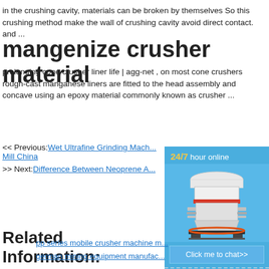in the crushing cavity, materials can be broken by themselves So this crushing method make the wall of crushing cavity avoid direct contact. and ...
mangenize crusher material
prolonging cone crusher liner life | agg-net , on most cone crushers rough-cast manganese liners are fitted to the head assembly and concave using an epoxy material commonly known as crusher ...
<< Previous:Wet Ultrafine Grinding Mach... Mill China
>> Next:Difference Between Neoprene A...
[Figure (illustration): Blue sidebar advertisement showing a cone crusher machine with '24/7 hour online' header, 'Click me to chat>>' button, 'Enquiry' section, and 'limingjlmofen' footer]
Related Information:
pp series mobile crusher machine m...
german mining equipment manufac...